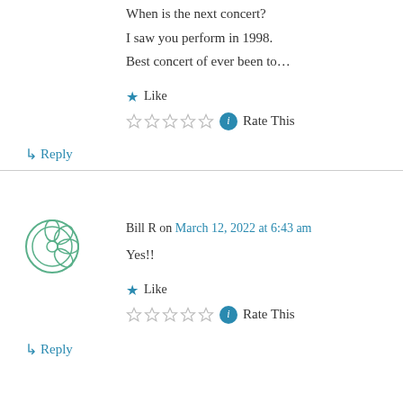When is the next concert?
I saw you perform in 1998.
Best concert of ever been to…
★ Like
☆☆☆☆☆ ⓘ Rate This
↳ Reply
Bill R on March 12, 2022 at 6:43 am
Yes!!
★ Like
☆☆☆☆☆ ⓘ Rate This
↳ Reply